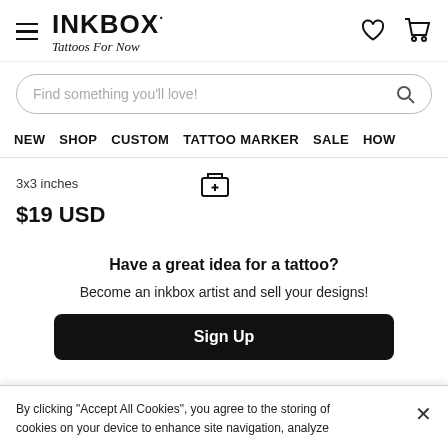INKBOX Tattoos For Now — navigation header with hamburger menu, logo, heart icon, cart icon
Find something you'll love!
NEW   SHOP   CUSTOM   TATTOO MARKER   SALE   HOW
3x3 inches
$19 USD
Have a great idea for a tattoo?
Become an inkbox artist and sell your designs!
Sign Up
By clicking “Accept All Cookies”, you agree to the storing of cookies on your device to enhance site navigation, analyze